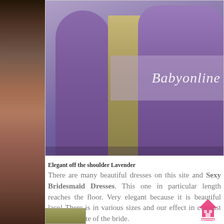[Figure (photo): Left side blurred photo strip showing dark reddish-brown tones, likely a person or background]
[Figure (photo): Purple/lavender bridesmaid dresses shown from waist down, two figures standing side by side with a gold/champagne fabric between them. A semi-transparent watermark overlay reads 'Babyonline' in white italic text.]
Elegant off the shoulder Lavender
There are many beautiful dresses on this site and Sexy Bridesmaid Dresses. This one in particular length reaches the floor. Very elegant because it is beautiful lace! There is in various sizes and our effect in contrast with the white of the bride.